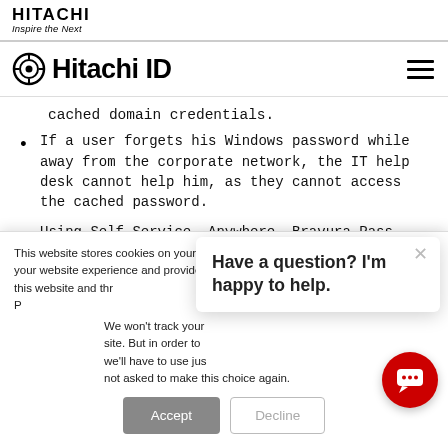HITACHI Inspire the Next
⊙ Hitachi ID
cached domain credentials.
If a user forgets his Windows password while away from the corporate network, the IT help desk cannot help him, as they cannot access the cached password.
Using Self-Service, Anywhere, Bravura Pass allows
This website stores cookies on your computer. These cookies are used to improve your website experience and provide more personalized services to you, both on this website and through other media. To find out more about the cookies we use, see our Privacy Policy.
We won't track your information when you visit our site. But in order to comply with your preferences, we'll have to use just one tiny cookie so that you're not asked to make this choice again.
Have a question? I'm happy to help.